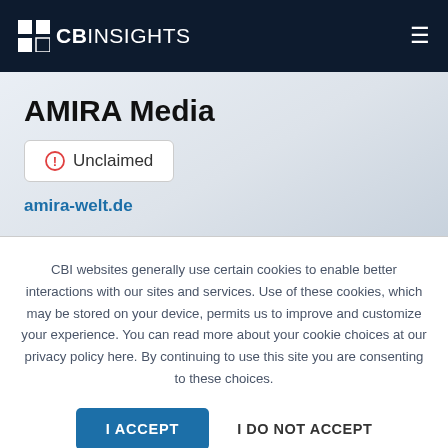CB INSIGHTS
AMIRA Media
Unclaimed
amira-welt.de
CBI websites generally use certain cookies to enable better interactions with our sites and services. Use of these cookies, which may be stored on your device, permits us to improve and customize your experience. You can read more about your cookie choices at our privacy policy here. By continuing to use this site you are consenting to these choices.
I ACCEPT
I DO NOT ACCEPT